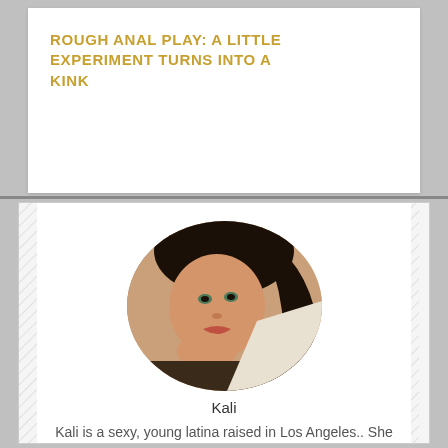ROUGH ANAL PLAY: A LITTLE EXPERIMENT TURNS INTO A KINK
[Figure (photo): Portrait photo of a young woman with dark hair looking at camera, lying down]
Kali
Kali is a sexy, young latina raised in Los Angeles.. She uses all her gifts to tease the guys, making them melt in her hands just from hearing her sweet, silky voice. Seducing men double her age, or more - the older, the better. She'll use her soft lips to